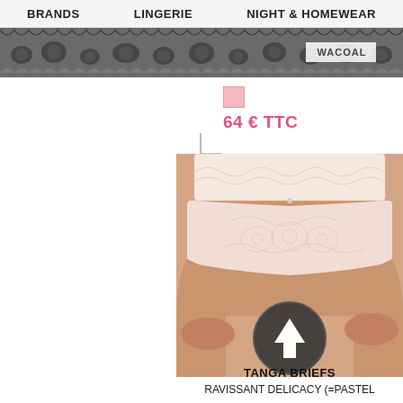BRANDS   LINGERIE   NIGHT & HOMEWEAR
[Figure (photo): Decorative lace border/banner with floral lace pattern in dark grey/black. Brand label 'WACOAL' visible on right side.]
64 € TTC
[Figure (photo): Product photo of a woman wearing Wacoal Ravissant Delicacy tanga briefs in pastel/nude pink lace. A dark circular arrow-up icon overlaid on the lower portion of the image.]
TANGA BRIEFS
RAVISSANT DELICACY (=PASTEL